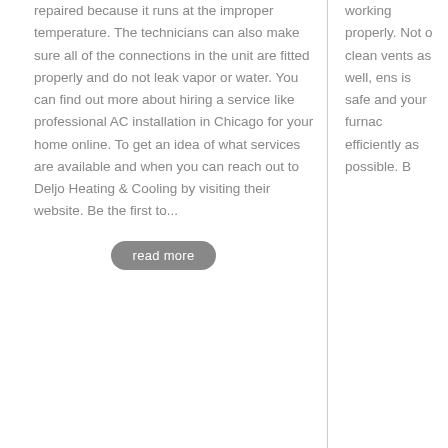repaired because it runs at the improper temperature. The technicians can also make sure all of the connections in the unit are fitted properly and do not leak vapor or water. You can find out more about hiring a service like professional AC installation in Chicago for your home online. To get an idea of what services are available and when you can reach out to Deljo Heating & Cooling by visiting their website. Be the first to...
working properly. Not o... clean vents as well, ens... is safe and your furnac... efficiently as possible. B...
read more
Routine and 24 Hour Heating And Cooling Repair in Apex
Benefits o... Professio... Contracto... Commerc... HVAC S...